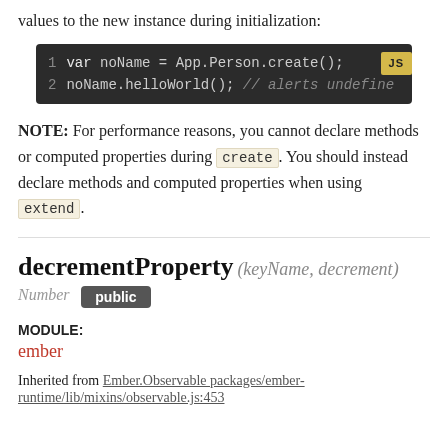values to the new instance during initialization:
[Figure (screenshot): Code block showing JS: var noName = App.Person.create(); noName.helloWorld(); // alerts undefine]
NOTE: For performance reasons, you cannot declare methods or computed properties during `create`. You should instead declare methods and computed properties when using `extend`.
decrementProperty (keyName, decrement)
Number  public
MODULE: ember
Inherited from Ember.Observable packages/ember-runtime/lib/mixins/observable.js:453